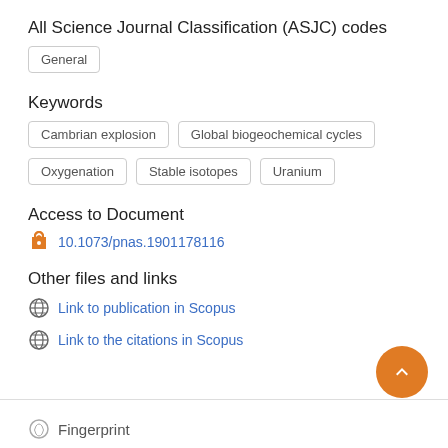All Science Journal Classification (ASJC) codes
General
Keywords
Cambrian explosion
Global biogeochemical cycles
Oxygenation
Stable isotopes
Uranium
Access to Document
10.1073/pnas.1901178116
Other files and links
Link to publication in Scopus
Link to the citations in Scopus